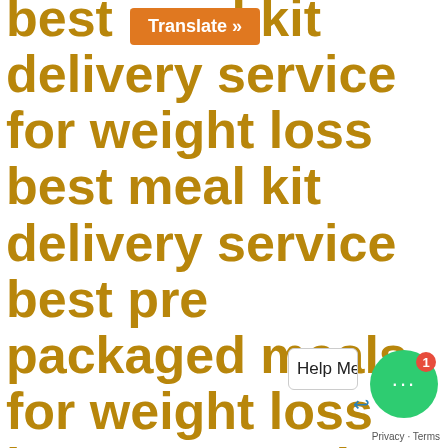best meal kit delivery service for weight loss best meal kit delivery service best pre packaged meals for weight loss best prepared meal delivery service best prepared meal delivery service 2020 best prepared meal delivery service for bodybuilders best prepared meal delivery service for singles best prepared meal delivery service for weight loss best prepared meal delivery service Malaysia best prepared meal delivery service near me best veg diet for muscle gain best veg diet for muscle gain and fat loss
[Figure (screenshot): Orange 'Translate »' button overlay on top of the text block]
[Figure (screenshot): Green circular chat widget with '...' icon and red badge showing '1', plus a 'Help Me Lose Weight Now!' popup bar and Privacy-Terms footer text]